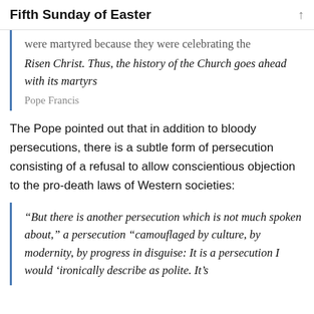Fifth Sunday of Easter
were martyred because they were celebrating the Risen Christ. Thus, the history of the Church goes ahead with its martyrs
Pope Francis
The Pope pointed out that in addition to bloody persecutions, there is a subtle form of persecution consisting of a refusal to allow conscientious objection to the pro-death laws of Western societies:
“But there is another persecution which is not much spoken about,” a persecution “camouflaged by culture, by modernity, by progress in disguise: It is a persecution I would ‘ironically describe as polite. It’s